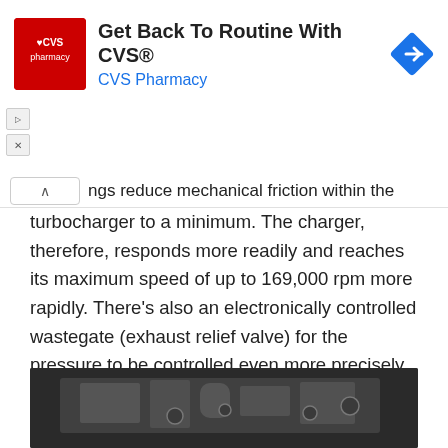[Figure (other): CVS Pharmacy advertisement banner with CVS logo, headline 'Get Back To Routine With CVS®', subtext 'CVS Pharmacy', and a blue navigation/arrow diamond icon]
ngs reduce mechanical friction within the turbocharger to a minimum. The charger, therefore, responds more readily and reaches its maximum speed of up to 169,000 rpm more rapidly. There's also an electronically controlled wastegate (exhaust relief valve) for the pressure to be controlled even more precisely. Peak boost is 2.1 bar (30.5 psi) for the S variants and 1.9 bar (27.5 psi) for the base engine.
[Figure (photo): Black and white photograph of an engine block or cylinder head component, shown at an angle against a dark background]